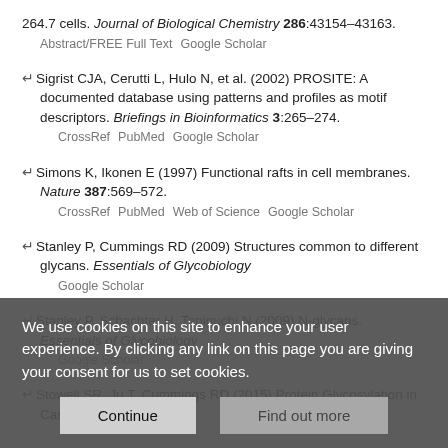264.7 cells. Journal of Biological Chemistry 286:43154–43163. Abstract/FREE Full Text  Google Scholar
Sigrist CJA, Cerutti L, Hulo N, et al. (2002) PROSITE: A documented database using patterns and profiles as motif descriptors. Briefings in Bioinformatics 3:265–274. CrossRef  PubMed  Google Scholar
Simons K, Ikonen E (1997) Functional rafts in cell membranes. Nature 387:569–572. CrossRef  PubMed  Web of Science  Google Scholar
Stanley P, Cummings RD (2009) Structures common to different glycans. Essentials of Glycobiology  Google Scholar
Stanley P, Schachter H, Taniguchi N (2009) N-glycans. Essentials of Glycobiology  Google Scholar
Stowell SR, Ju T, Cummings RD (2015) Protein Glycosylation in Cancer.
We use cookies on this site to enhance your user experience. By clicking any link on this page you are giving your consent for us to set cookies.